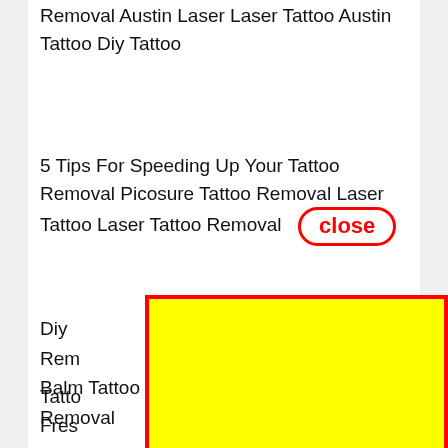Removal Austin Laser Laser Tattoo Austin Tattoo Diy Tattoo
5 Tips For Speeding Up Your Tattoo Removal Picosure Tattoo Removal Laser Tattoo Laser Tattoo Removal [close button]
[Figure (other): Yellow advertisement overlay box with red border covering the center of the page]
Tattoo ... m Fresh ... x Lase ... Rem ... Diy ... Rem ... g Balm Tattoo Removal Work Ta Tattoo Removal